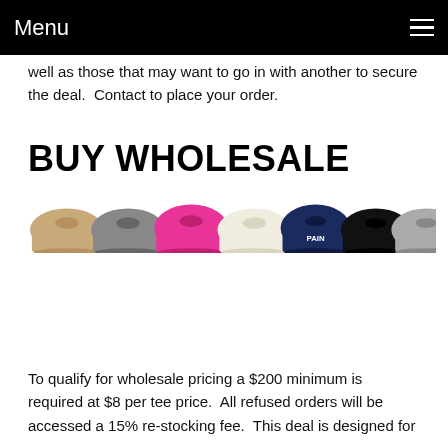Menu
well as those that may want to go in with another to secure the deal.  Contact to place your order.
BUY WHOLESALE
[Figure (photo): A row of t-shirts in various colors: tan/beige, gray, pink/magenta, white/cream, navy blue with 'PAIN' text, black, and gray, displayed side by side.]
To qualify for wholesale pricing a $200 minimum is required at $8 per tee price.  All refused orders will be accessed a 15% re-stocking fee.  This deal is designed for